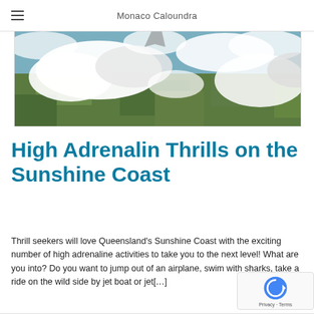Monaco Caloundra
[Figure (photo): Aerial photograph taken from an airplane showing clouds and green landscape below]
High Adrenalin Thrills on the Sunshine Coast
Thrill seekers will love Queensland's Sunshine Coast with the exciting number of high adrenaline activities to take you to the next level! What are you into? Do you want to jump out of an airplane, swim with sharks, take a ride on the wild side by jet boat or jet[...]